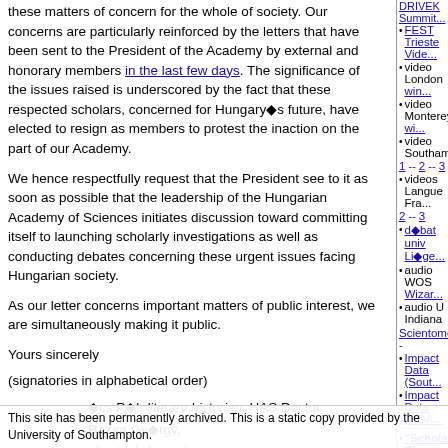these matters of concern for the whole of society. Our concerns are particularly reinforced by the letters that have been sent to the President of the Academy by external and honorary members in the last few days. The significance of the issues raised is underscored by the fact that these respected scholars, concerned for Hungary's future, have elected to resign as members to protest the inaction on the part of our Academy.
We hence respectfully request that the President see to it as soon as possible that the leadership of the Hungarian Academy of Sciences initiates discussion toward committing itself to launching scholarly investigations as well as conducting debates concerning these urgent issues facing Hungarian society.
As our letter concerns important matters of public interest, we are simultaneously making it public.
Yours sincerely
(signatories in alphabetical order)
◆cs Pál, literary historian, HAS Doctor
Bazsa György, physical chemist,
DRIVEK Summit...
FEST Trieste Vide...
video London win...
video Monterey wi...
video Southampton...
1 -- 2 -- 3
videos Langue Fra...
2 -- 3
débat univ Li...ge
audio WOS Wizar...
audio U Indiana
Scientometrics -
Impact Data (Sout...
Impact Data (UQA...
"Scholarly Skyw... (1990)
"PostGutenberg... (1991)
"Subversive Prop... (1994)
AmSci OA Forum... 1998)
OA News (since 2...
Self-Archiving In... (2001)
Self-Archiving FA...
This site has been permanently archived. This is a static copy provided by the University of Southampton.
Citebase (citat...